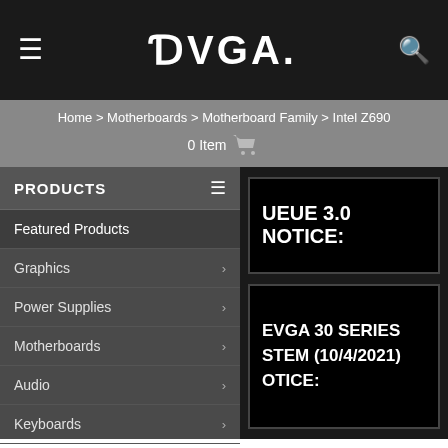EVGA navigation header with hamburger menu, EVGA logo, and search icon
Home > Motherboards > Motherboard Family > Intel Z690
0 Item (cart icon)
PRODUCTS
Featured Products
Graphics
Power Supplies
Motherboards
Audio
Keyboards
Gaming Mice
Cooling
Accessories
QUEUE 3.0 NOTICE:
EVGA 30 SERIES STEM (10/4/2021) OTICE: